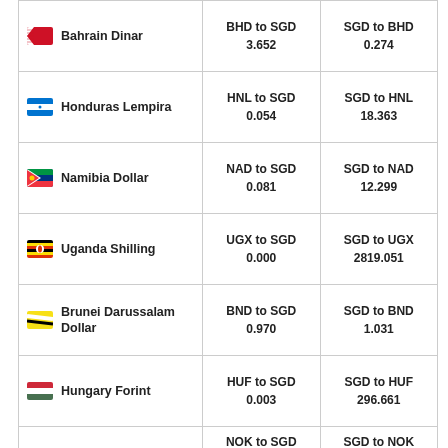| Currency | To SGD | From SGD |
| --- | --- | --- |
| Bahrain Dinar | BHD to SGD
3.652 | SGD to BHD
0.274 |
| Honduras Lempira | HNL to SGD
0.054 | SGD to HNL
18.363 |
| Namibia Dollar | NAD to SGD
0.081 | SGD to NAD
12.299 |
| Uganda Shilling | UGX to SGD
0.000 | SGD to UGX
2819.051 |
| Brunei Darussalam Dollar | BND to SGD
0.970 | SGD to BND
1.031 |
| Hungary Forint | HUF to SGD
0.003 | SGD to HUF
296.661 |
| (partial row) | NOK to SGD | SGD to NOK |